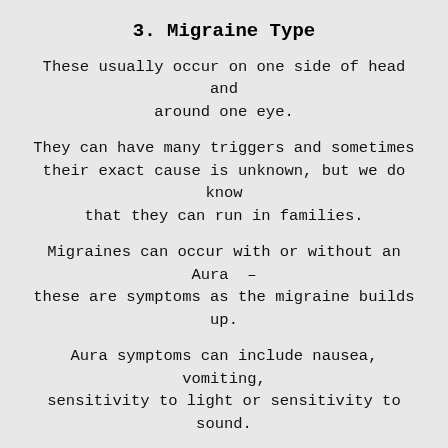3. Migraine Type
These usually occur on one side of head and around one eye.
They can have many triggers and sometimes their exact cause is unknown, but we do know that they can run in families.
Migraines can occur with or without an Aura – these are symptoms as the migraine builds up.
Aura symptoms can include nausea, vomiting, sensitivity to light or sensitivity to sound.